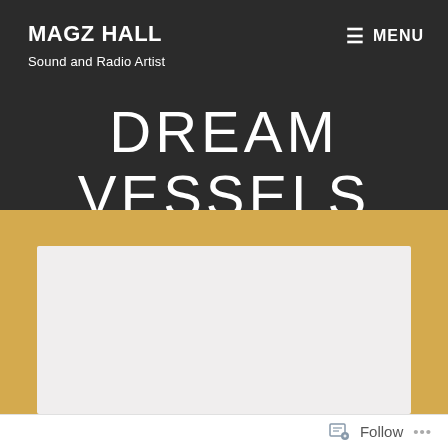MAGZ HALL — Sound and Radio Artist | MENU
DREAM VESSELS
[Figure (other): White/light grey rectangular card placeholder on a gold/yellow background]
Follow ...